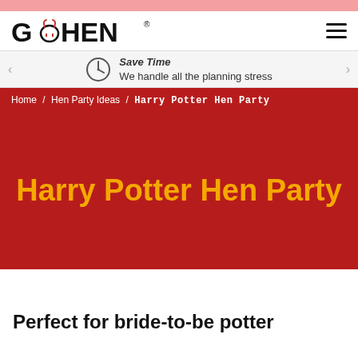GO HEN
Save Time — We handle all the planning stress
Home / Hen Party Ideas / Harry Potter Hen Party
Harry Potter Hen Party
Perfect for bride-to-be potter